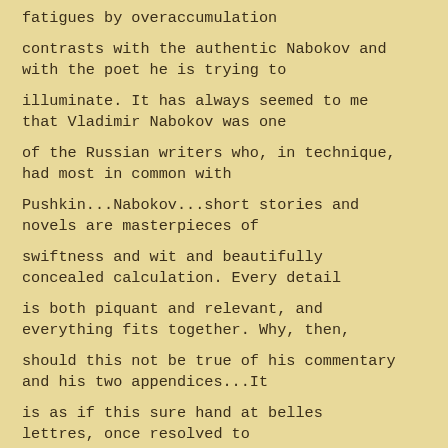fatigues by overaccumulation
contrasts with the authentic Nabokov and with the poet he is trying to
illuminate. It has always seemed to me that Vladimir Nabokov was one
of the Russian writers who, in technique, had most in common with
Pushkin...Nabokov...short stories and novels are masterpieces of
swiftness and wit and beautifully concealed calculation. Every detail
is both piquant and relevant, and everything fits together. Why, then,
should this not be true of his commentary and his two appendices...It
is as if this sure hand at belles lettres, once resolved to
distinguish himself as a scholar, has fallen under an oppressive